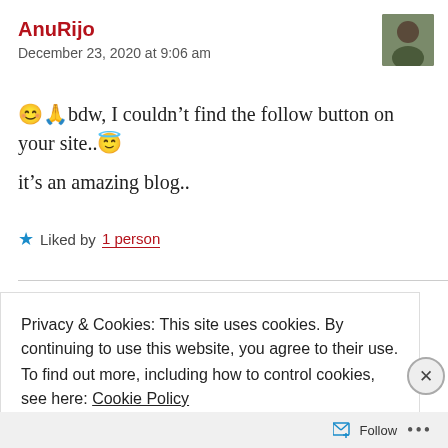AnuRijo
December 23, 2020 at 9:06 am
😊🙏bdw, I couldn't find the follow button on your site..😇
it's an amazing blog..
★ Liked by 1 person
Privacy & Cookies: This site uses cookies. By continuing to use this website, you agree to their use.
To find out more, including how to control cookies, see here: Cookie Policy
Close and accept
Follow ...